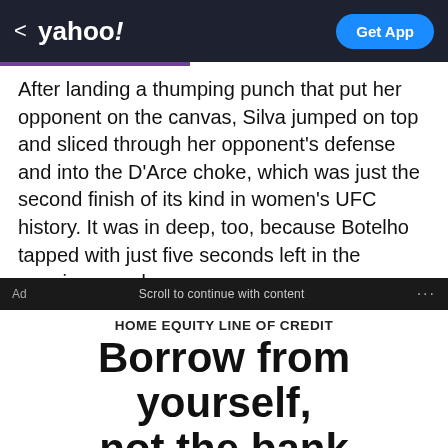< yahoo! | Get App
After landing a thumping punch that put her opponent on the canvas, Silva jumped on top and sliced through her opponent's defense and into the D'Arce choke, which was just the second finish of its kind in women's UFC history. It was in deep, too, because Botelho tapped with just five seconds left in the opening round.
Ad   Scroll to continue with content   ...
HOME EQUITY LINE OF CREDIT
Borrow from yourself, not the bank
How much do you need?